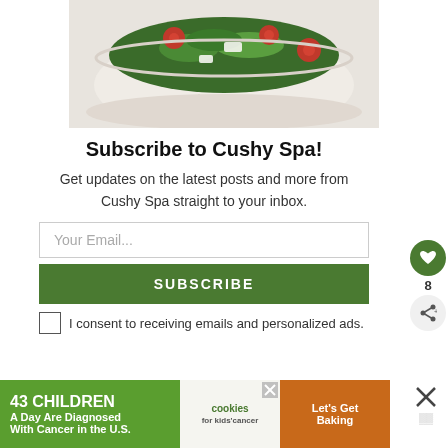[Figure (photo): A white speckled ceramic bowl filled with salad including cherry tomatoes, leafy greens, and other vegetables, placed on a plate.]
Subscribe to Cushy Spa!
Get updates on the latest posts and more from Cushy Spa straight to your inbox.
Your Email...
SUBSCRIBE
I consent to receiving emails and personalized ads.
[Figure (infographic): Advertisement banner: '43 CHILDREN A Day Are Diagnosed With Cancer in the U.S.' with cookies for kids' cancer logo and 'Let's Get Baking' text.]